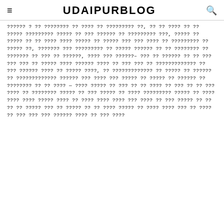UDAIPURBLOG
?????? ? ?? ???????? ?? ???? ?? ????????? ??, ?? ?? ???? ?? ?? ????? ????????? ????? ?? ??? ?????? ?? ????????? ???, ????? ?? ????? ?? ?? ???? ???? ????? ?? ????? ??? ??? ???? ?? ????????? ?? ????? ??, ??????? ??? ????????? ?? ????? ?????? ?? ?? ???????? ?? ??????? ?? ??? ?? ??????, ???? ??? ??????- ??? ?? ?????? ?? ?? ??? ??? ??? ?? ????? ???? ?????? ???? ?? ??? ??? ?? ????????????? ?? ??? ?????? ???? ?? ????? ????, ?? ????????????? ?? ????? ?? ?????? ?? ????????????? ?????? ??? ???? ??? ????? ?? ????? ?? ?????? ?? ???????? ?? ?? ???? — ???? ????? ?? ??? ?? ?? ???? ?? ??? ?? ?? ??? ???? ?? ???????? ????? ?? ??? ????? ?? ???? ????????? ????? ?? ???? ???? ???? ????? ???? ?? ???? ???? ???? ??? ???? ?? ??? ????? ?? ?? ?? ?? ????? ??? ?? ????? ?? ?? ???? ????? ?? ???? ???? ??? ?? ???? ?? ??? ??? ??? ?????? ???? ?? ??? ????